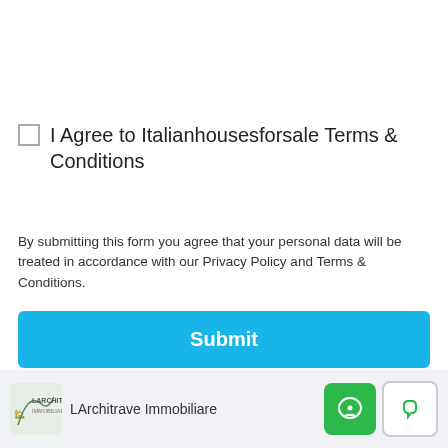[Figure (screenshot): Textarea input box, partially visible, with resize handle at bottom right]
I Agree to Italianhousesforsale Terms & Conditions
By submitting this form you agree that your personal data will be treated in accordance with our Privacy Policy and Terms & Conditions.
Submit
[Figure (logo): LArchitrave Immobiliare logo with stylized figure and text]
LArchitrave Immobiliare